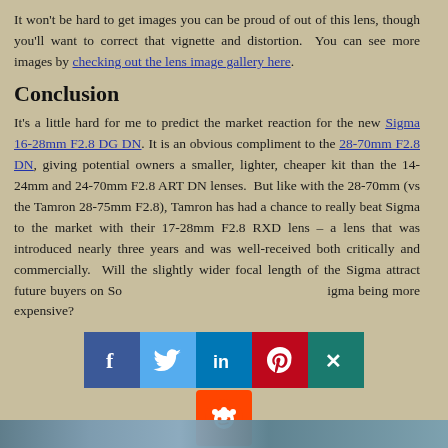It won't be hard to get images you can be proud of out of this lens, though you'll want to correct that vignette and distortion. You can see more images by checking out the lens image gallery here.
Conclusion
It's a little hard for me to predict the market reaction for the new Sigma 16-28mm F2.8 DG DN. It is an obvious compliment to the 28-70mm F2.8 DN, giving potential owners a smaller, lighter, cheaper kit than the 14-24mm and 24-70mm F2.8 ART DN lenses. But like with the 28-70mm (vs the Tamron 28-75mm F2.8), Tamron has had a chance to really beat Sigma to the market with their 17-28mm F2.8 RXD lens – a lens that was introduced nearly three years and was well-received both critically and commercially. Will the slightly wider focal length of the Sigma attract future buyers on So... igma being more expensive?
[Figure (other): Social media sharing icons: Facebook, Twitter, LinkedIn, Pinterest, Xing, Reddit]